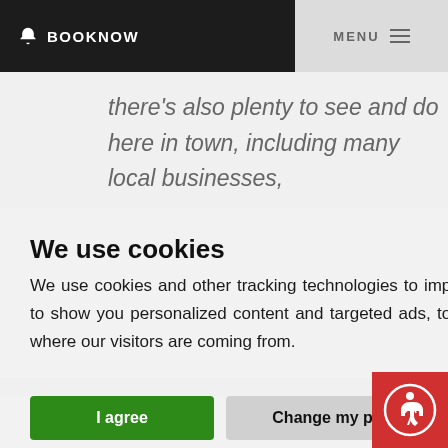BOOKNOW   MENU
there's also plenty to see and do here in town, including many local businesses,
We use cookies
We use cookies and other tracking technologies to improve your browsing experience on our website, to show you personalized content and targeted ads, to analyze our website traffic, and to understand where our visitors are coming from.
I agree   Change my preferences